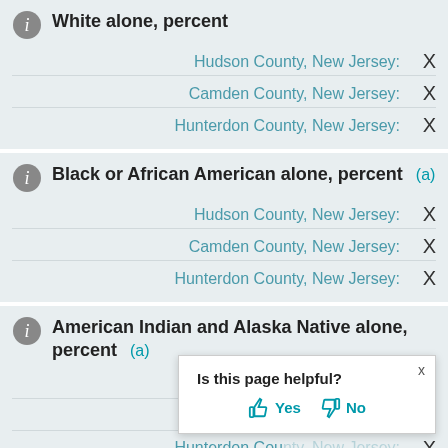White alone, percent
Hudson County, New Jersey: X
Camden County, New Jersey: X
Hunterdon County, New Jersey: X
Black or African American alone, percent (a)
Hudson County, New Jersey: X
Camden County, New Jersey: X
Hunterdon County, New Jersey: X
American Indian and Alaska Native alone, percent (a)
Hudson County, New Jersey: X
Camden County, New Jersey: X
Hunterdon County, New Jersey: X
Asian alone, percent (a)